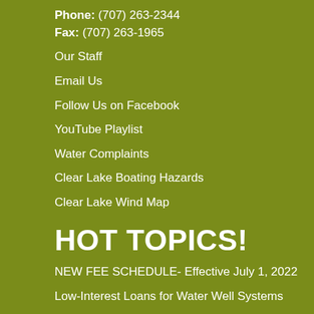Phone: (707) 263-2344
Fax: (707) 263-1965
Our Staff
Email Us
Follow Us on Facebook
YouTube Playlist
Water Complaints
Clear Lake Boating Hazards
Clear Lake Wind Map
HOT TOPICS!
NEW FEE SCHEDULE- Effective July 1, 2022
Low-Interest Loans for Water Well Systems
Have your well monitored for water level
Big Valley GSP